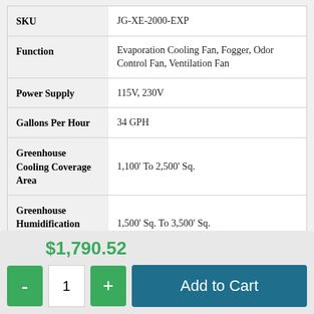| Attribute | Value |
| --- | --- |
| SKU | JG-XE-2000-EXP |
| Function | Evaporation Cooling Fan, Fogger, Odor Control Fan, Ventilation Fan |
| Power Supply | 115V, 230V |
| Gallons Per Hour | 34 GPH |
| Greenhouse Cooling Coverage Area | 1,100' To 2,500' Sq. |
| Greenhouse Humidification Coverage | 1,500' Sq. To 3,500' Sq. |
$1,790.52
- 1 +
Add to Cart